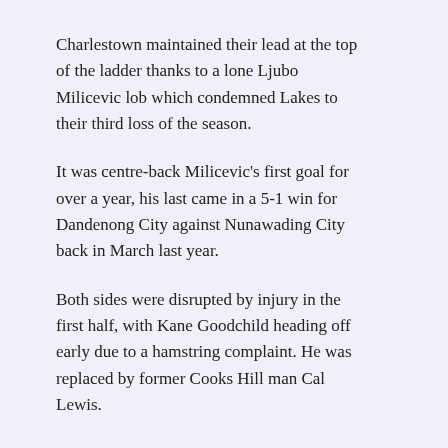Charlestown maintained their lead at the top of the ladder thanks to a lone Ljubo Milicevic lob which condemned Lakes to their third loss of the season.
It was centre-back Milicevic's first goal for over a year, his last came in a 5-1 win for Dandenong City against Nunawading City back in March last year.
Both sides were disrupted by injury in the first half, with Kane Goodchild heading off early due to a hamstring complaint. He was replaced by former Cooks Hill man Cal Lewis.